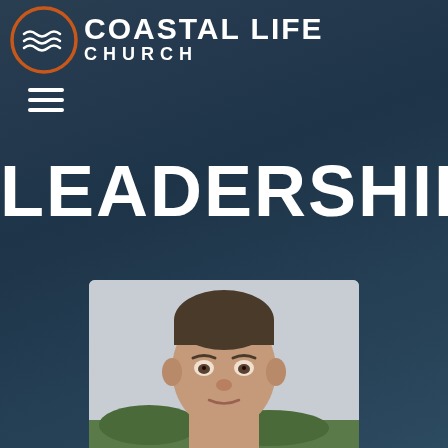[Figure (logo): Coastal Life Church logo with orange circle containing wave icon and text 'COASTAL LIFE CHURCH' in white]
[Figure (other): Hamburger menu icon (three white horizontal lines)]
LEADERSHIP
[Figure (photo): Portrait photo of a middle-aged man with short dark hair, facing slightly forward, outdoors background]